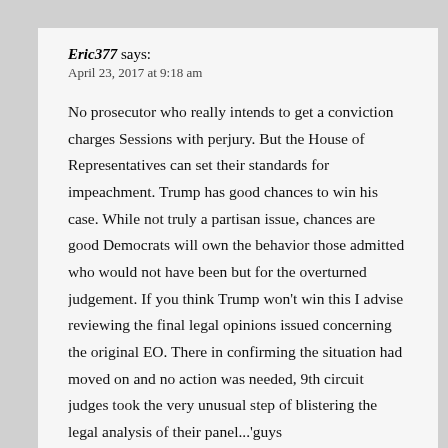Eric377 says:
April 23, 2017 at 9:18 am
No prosecutor who really intends to get a conviction charges Sessions with perjury. But the House of Representatives can set their standards for impeachment. Trump has good chances to win his case. While not truly a partisan issue, chances are good Democrats will own the behavior those admitted who would not have been but for the overturned judgement. If you think Trump won’t win this I advise reviewing the final legal opinions issued concerning the original EO. There in confirming the situation had moved on and no action was needed, 9th circuit judges took the very unusual step of blistering the legal analysis of their panel...'guys